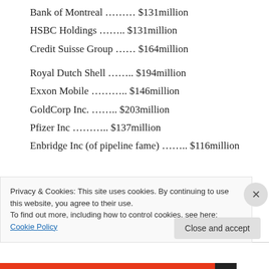Bank of Montreal ……… $131million
HSBC Holdings …….. $131million
Credit Suisse Group …… $164million
Royal Dutch Shell …….. $194million
Exxon Mobile ……….. $146million
GoldCorp Inc. …….. $203million
Pfizer Inc ……….. $137million
Enbridge Inc (of pipeline fame) …….. $116million
Privacy & Cookies: This site uses cookies. By continuing to use this website, you agree to their use. To find out more, including how to control cookies, see here: Cookie Policy